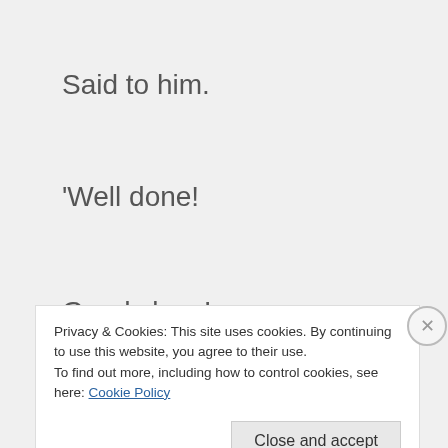Said to him.
'Well done!
Good slave!
Trustworthy slave!
You have been
Privacy & Cookies: This site uses cookies. By continuing to use this website, you agree to their use.
To find out more, including how to control cookies, see here: Cookie Policy
Close and accept